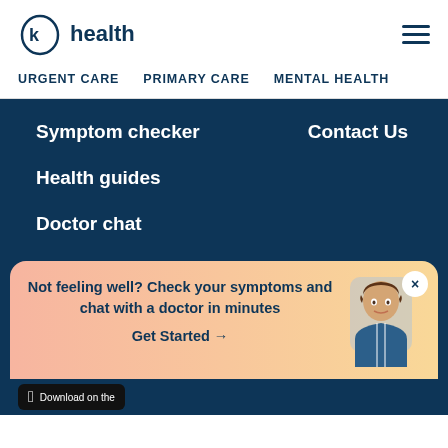[Figure (logo): K Health logo — circle with letter K inside, followed by text 'health' in dark navy]
URGENT CARE   PRIMARY CARE   MENTAL HEALTH
Symptom checker
Contact Us
Health guides
Doctor chat
Press
Not feeling well? Check your symptoms and chat with a doctor in minutes
Get Started →
[Figure (photo): Photo of smiling female doctor in blue jacket]
Download on the